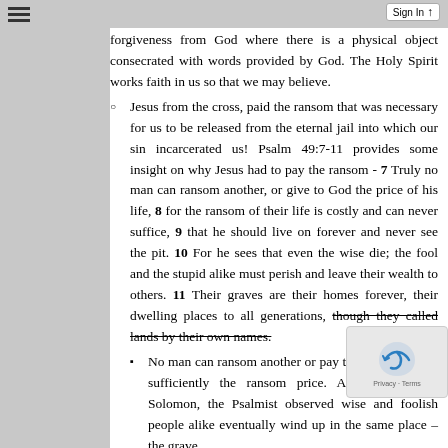forgiveness from God where there is a physical object consecrated with words provided by God. The Holy Spirit works faith in us so that we may believe.
Jesus from the cross, paid the ransom that was necessary for us to be released from the eternal jail into which our sin incarcerated us! Psalm 49:7-11 provides some insight on why Jesus had to pay the ransom - 7 Truly no man can ransom another, or give to God the price of his life, 8 for the ransom of their life is costly and can never suffice, 9 that he should live on forever and never see the pit. 10 For he sees that even the wise die; the fool and the stupid alike must perish and leave their wealth to others. 11 Their graves are their homes forever, their dwelling places to all generations, though they called lands by their own names.
No man can ransom another or pay to God the Father sufficiently the ransom price. Additionally, like Solomon, the Psalmist observed wise and foolish people alike eventually wind up in the same place – the grave.
What is interesting about this portion of Psalm 49 is the usage of the Greek word, λύτρον, which is